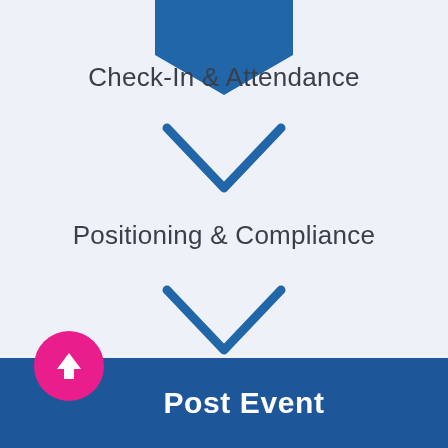[Figure (flowchart): Flowchart showing steps: top blue filled downward arrow, then Check-In & Attendance, then blue chevron/down arrow, then Positioning & Compliance, then blue chevron/down arrow, then Incidents & Tracking, then Post Event footer bar with upload icon circle]
Check-In & Attendance
Positioning & Compliance
Incidents & Tracking
Post Event